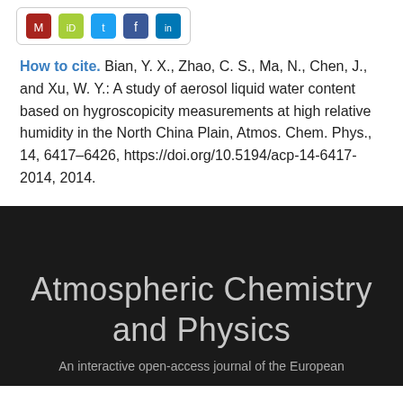[Figure (other): Social media sharing icons in a rounded rectangle box: Mendeley (red), ORCID (green), Twitter (blue), Facebook (blue), LinkedIn (blue)]
How to cite. Bian, Y. X., Zhao, C. S., Ma, N., Chen, J., and Xu, W. Y.: A study of aerosol liquid water content based on hygroscopicity measurements at high relative humidity in the North China Plain, Atmos. Chem. Phys., 14, 6417–6426, https://doi.org/10.5194/acp-14-6417-2014, 2014.
Atmospheric Chemistry and Physics
An interactive open-access journal of the European